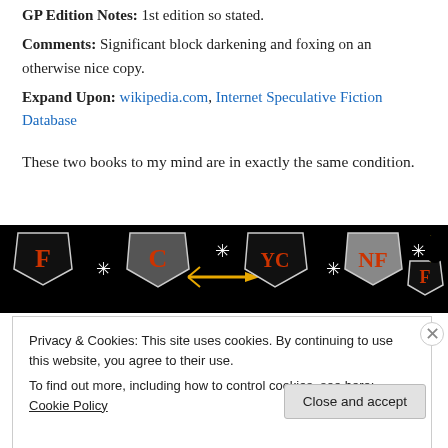GP Edition Notes: 1st edition so stated.
Comments: Significant block darkening and foxing on an otherwise nice copy.
Expand Upon: wikipedia.com, Internet Speculative Fiction Database
These two books to my mind are in exactly the same condition.
[Figure (logo): Black banner with fantasy/RPG shield icons labeled F, C, NC, NF, F with stars and a crescent moon, and a trident/arrow graphic.]
Privacy & Cookies: This site uses cookies. By continuing to use this website, you agree to their use. To find out more, including how to control cookies, see here: Cookie Policy
Close and accept